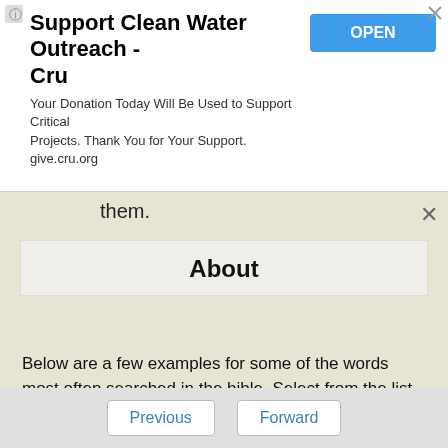[Figure (screenshot): Advertisement banner for Cru clean water outreach with OPEN button]
them.
About
Below are a few examples for some of the words most often searched in the bible. Select from the list of words below to find all bible verses that include that word or name.
33 Verses About Adultery
20 Verses About Courage
261 Verses About Enemies
Previous   Forward